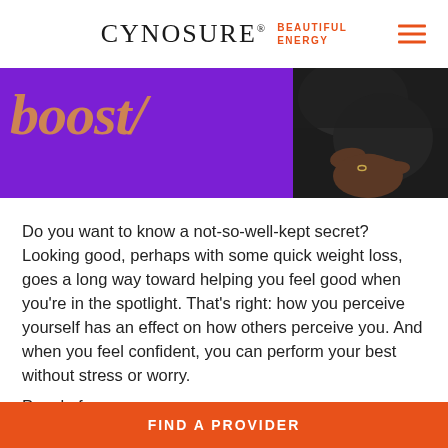CYNOSURE® BEAUTIFUL ENERGY
[Figure (photo): Purple hero banner with large italic orange/gold text reading 'BOOST' partially visible, alongside a dark photo of a person's hand/arm against a dark background]
Do you want to know a not-so-well-kept secret? Looking good, perhaps with some quick weight loss, goes a long way toward helping you feel good when you're in the spotlight. That's right: how you perceive yourself has an effect on how others perceive you. And when you feel confident, you can perform your best without stress or worry.
People from...
FIND A PROVIDER